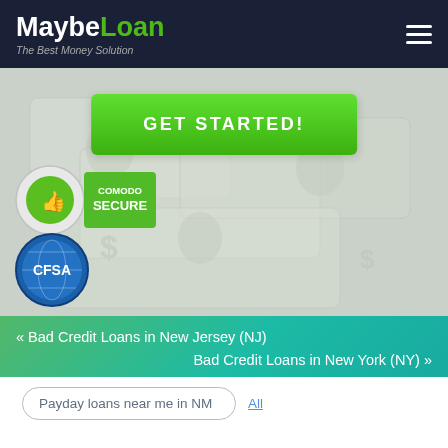MaybeLoan — The Best Money Solution
[Figure (screenshot): Hero banner with GET STARTED! green button on a background of money/dollar bills imagery, featuring Comodo Secure badge and CFSA badge]
« Bad Credit Loans in New Jersey (NJ)
Bad Credit Loans in New York (NY) »
Payday loans near me in NM
All